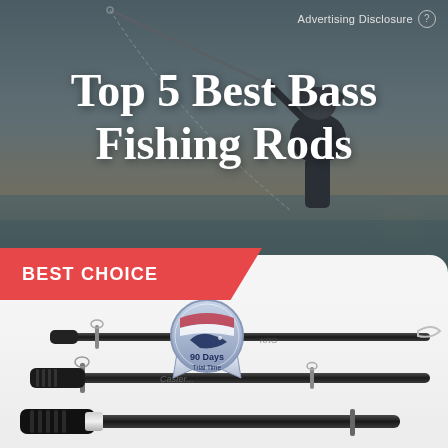[Figure (photo): Hero background photo of a person fishing at sunset/dusk, silhouette against water and warm sky]
Advertising Disclosure ?
Top 5 Best Bass Fishing Rods
BEST CHOICE
[Figure (logo): Circular badge/seal with bass fish illustration and text '90 Days Trial Time']
[Figure (photo): Product photo of black bass fishing rods shown in detail, highlighting guides and grip sections]